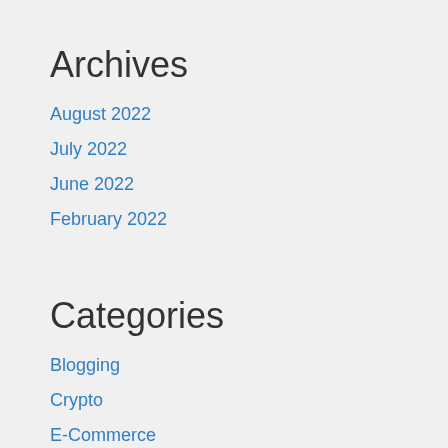Archives
August 2022
July 2022
June 2022
February 2022
Categories
Blogging
Crypto
E-Commerce
Home
Technology